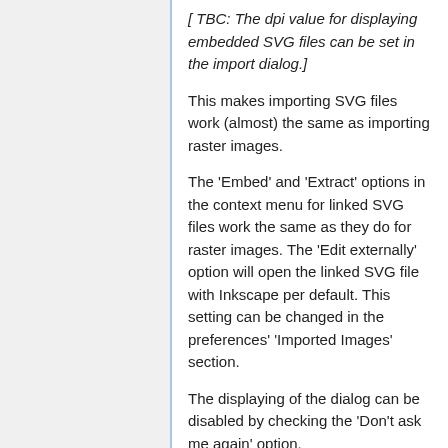[ TBC: The dpi value for displaying embedded SVG files can be set in the import dialog.]
This makes importing SVG files work (almost) the same as importing raster images.
The 'Embed' and 'Extract' options in the context menu for linked SVG files work the same as they do for raster images. The 'Edit externally' option will open the linked SVG file with Inkscape per default. This setting can be changed in the preferences' 'Imported Images' section.
The displaying of the dialog can be disabled by checking the 'Don't ask me again' option.
Linked and embedded SVG images are displayed as their raster representations